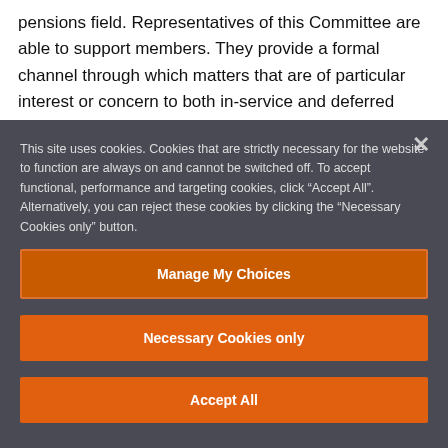pensions field. Representatives of this Committee are able to support members. They provide a formal channel through which matters that are of particular interest or concern to both in-service and deferred members can be raised. They are also actively involved in improving communication links between the Company and Scheme members, while also encouraging in-
This site uses cookies. Cookies that are strictly necessary for the website to function are always on and cannot be switched off. To accept functional, performance and targeting cookies, click “Accept All”. Alternatively, you can reject these cookies by clicking the “Necessary Cookies only” button.
Manage My Choices
Necessary Cookies only
Accept All